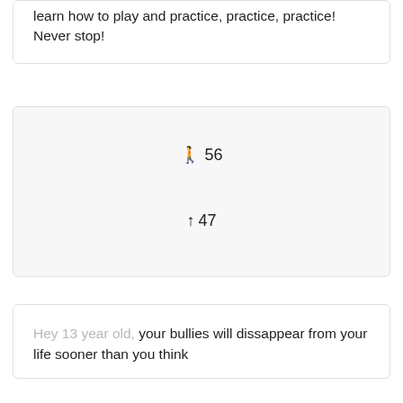learn how to play and practice, practice, practice! Never stop!
🚶 56
↑ 47
Hey 13 year old, your bullies will dissappear from your life sooner than you think